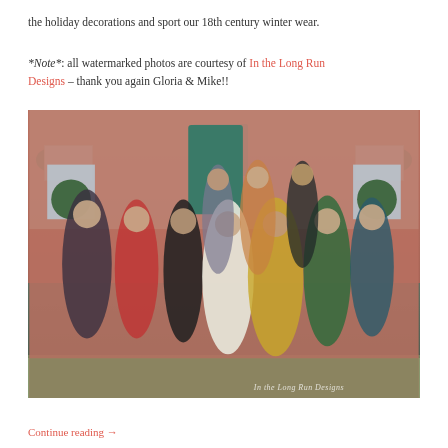the holiday decorations and sport our 18th century winter wear.
*Note*: all watermarked photos are courtesy of In the Long Run Designs – thank you again Gloria & Mike!!
[Figure (photo): Group photograph of approximately 14 people dressed in 18th century period costumes (winter wear) standing in front of a red brick building with a teal/green door, holiday wreaths, and windows. The group includes men and women in elaborate historical dress including gowns, cloaks, bonnets, muffs, and hats. A watermark reading 'In the Long Run Designs' appears in the lower right corner.]
Continue reading →